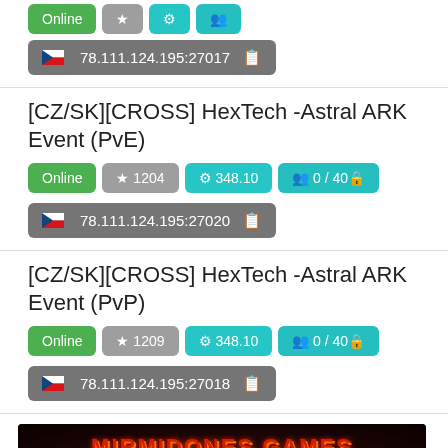Online | ★ (rating) | ⚙ (version) | 👥 0/40 🔒 | 78.111.124.195:27017
[CZ/SK][CROSS] HexTech -Astral ARK Event (PvE)
Online | ★ 1204 | ⚙ 348.10 | 👥 0 / 40 🔒 | 78.111.124.195:27020
[CZ/SK][CROSS] HexTech -Astral ARK Event (PvP)
Online | ★ 1209 | ⚙ 348.10 | 👥 0 / 40 🔒 | 78.111.124.195:27018
[Figure (illustration): MIRMIDONES GAMES banner with STEAM GENESIS II EPIC text on dark red background]